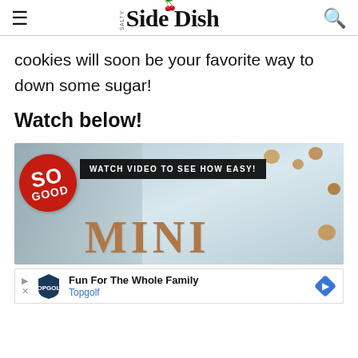Salty Side Dish
cookies will soon be your favorite way to down some sugar!
Watch below!
[Figure (screenshot): Video thumbnail for mini cookies recipe showing 'SO GOOD' red badge, black banner reading 'WATCH VIDEO TO SEE HOW EASY!' and large text 'MINI' on a cookies background]
[Figure (infographic): Ad banner: Fun For The Whole Family - Topgolf advertisement with arrow, shield logo, blue diamond navigation icon]